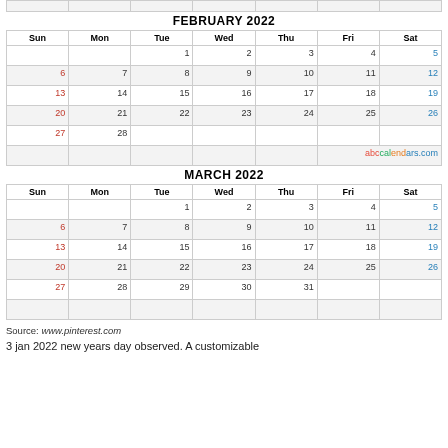[Figure (other): Top partial calendar row (stub from previous month)]
FEBRUARY 2022
| Sun | Mon | Tue | Wed | Thu | Fri | Sat |
| --- | --- | --- | --- | --- | --- | --- |
|  |  | 1 | 2 | 3 | 4 | 5 |
| 6 | 7 | 8 | 9 | 10 | 11 | 12 |
| 13 | 14 | 15 | 16 | 17 | 18 | 19 |
| 20 | 21 | 22 | 23 | 24 | 25 | 26 |
| 27 | 28 |  |  |  |  |  |
|  |  |  |  |  |  |  |
MARCH 2022
| Sun | Mon | Tue | Wed | Thu | Fri | Sat |
| --- | --- | --- | --- | --- | --- | --- |
|  |  | 1 | 2 | 3 | 4 | 5 |
| 6 | 7 | 8 | 9 | 10 | 11 | 12 |
| 13 | 14 | 15 | 16 | 17 | 18 | 19 |
| 20 | 21 | 22 | 23 | 24 | 25 | 26 |
| 27 | 28 | 29 | 30 | 31 |  |  |
|  |  |  |  |  |  |  |
Source: www.pinterest.com
3 jan 2022 new years day observed. A customizable